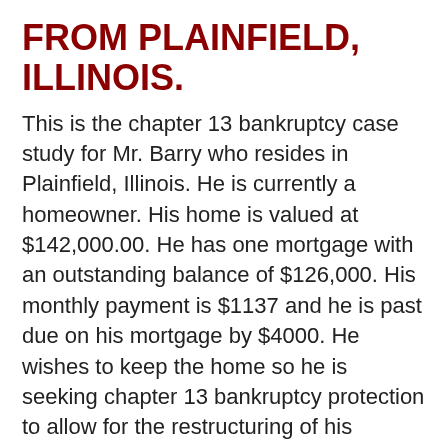FROM PLAINFIELD, ILLINOIS.
This is the chapter 13 bankruptcy case study for Mr. Barry who resides in Plainfield, Illinois. He is currently a homeowner. His home is valued at $142,000.00. He has one mortgage with an outstanding balance of $126,000. His monthly payment is $1137 and he is past due on his mortgage by $4000. He wishes to keep the home so he is seeking chapter 13 bankruptcy protection to allow for the restructuring of his mortgage arrearag. This property is also a condo and the Association fee is $195 per month and he is behind $215 on that